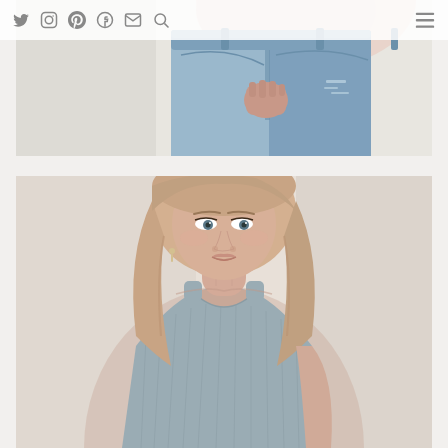Navigation bar with social icons: Twitter, Instagram, Pinterest, Facebook, Email, Search, and hamburger menu
[Figure (photo): Close-up photo of a person wearing light blue distressed jeans and a pink/white top, hands in pockets, cropped at waist level]
[Figure (photo): Fashion photo of a young blonde woman wearing a grey ribbed scoop-neck bodysuit/tank top, looking slightly upward, photographed from the waist up against a light background]